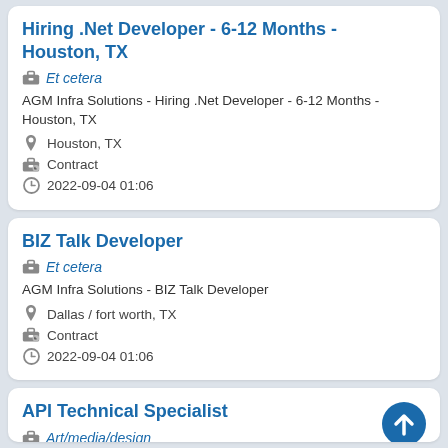Hiring .Net Developer - 6-12 Months - Houston, TX
Et cetera
AGM Infra Solutions - Hiring .Net Developer - 6-12 Months - Houston, TX
Houston, TX
Contract
2022-09-04 01:06
BIZ Talk Developer
Et cetera
AGM Infra Solutions - BIZ Talk Developer
Dallas / fort worth, TX
Contract
2022-09-04 01:06
API Technical Specialist
Art/media/design
AGM Infra Solutions - API Technical Specialist